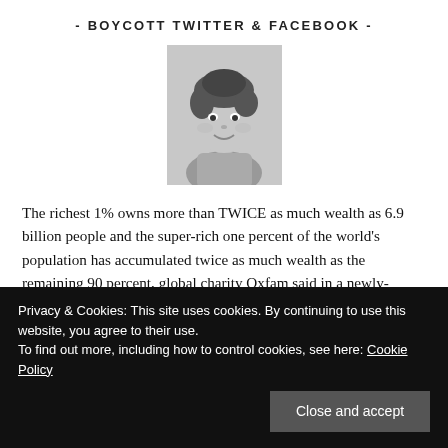- BOYCOTT TWITTER & FACEBOOK -
[Figure (photo): Black and white vintage photo of a smiling young toddler child]
The richest 1% owns more than TWICE as much wealth as 6.9 billion people and the super-rich one percent of the world's population has accumulated twice as much wealth as the remaining 90 percent, global charity Oxfam said in a newly-released report. The world's richest 1% emit double the carbon of the poorest 50%, the 2020 Oxfam study found.
Privacy & Cookies: This site uses cookies. By continuing to use this website, you agree to their use.
To find out more, including how to control cookies, see here: Cookie Policy